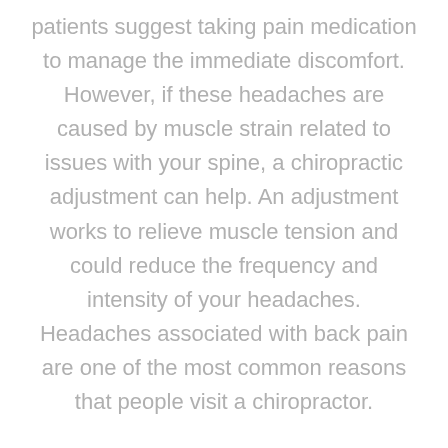patients suggest taking pain medication to manage the immediate discomfort. However, if these headaches are caused by muscle strain related to issues with your spine, a chiropractic adjustment can help. An adjustment works to relieve muscle tension and could reduce the frequency and intensity of your headaches. Headaches associated with back pain are one of the most common reasons that people visit a chiropractor.
Acid Reflux